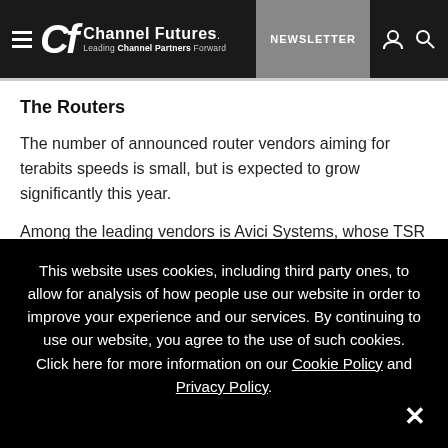Channel Futures. Leading Channel Partners Forward. NEWSLETTER
The Routers
The number of announced router vendors aiming for terabits speeds is small, but is expected to grow significantly this year.
Among the leading vendors is Avici Systems, whose TSR
This website uses cookies, including third party ones, to allow for analysis of how people use our website in order to improve your experience and our services. By continuing to use our website, you agree to the use of such cookies. Click here for more information on our Cookie Policy and Privacy Policy.